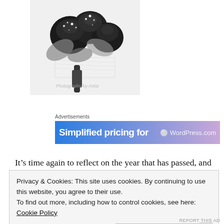[Figure (photo): Black roses bouquet with silver/white sparkly embellishments and pearl-like details, grayscale image, partially cropped at top]
Advertisements
[Figure (screenshot): Advertisement banner with gradient blue-to-purple background showing 'Simplified pricing for' text and WordPress.com logo]
It’s time again to reflect on the year that has passed, and to reconsider all the wonderful (and not so wonderful) theatre we have seen. What lingers in the memory, cuts through this crowded arena
Privacy & Cookies: This site uses cookies. By continuing to use this website, you agree to their use.
To find out more, including how to control cookies, see here: Cookie Policy
Close and accept